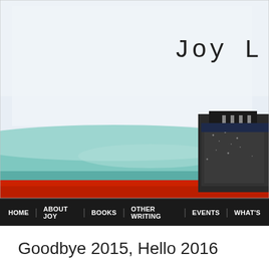[Figure (photo): Close-up photograph of a vintage typewriter. A white paper is in the typewriter with 'Joy L' typed in a monospace typewriter font visible in the upper right. The typewriter body is teal/mint green and red, with a black ribbon mechanism visible on the right side.]
HOME  ABOUT JOY  BOOKS  OTHER WRITING  EVENTS  WHAT'S
Goodbye 2015, Hello 2016